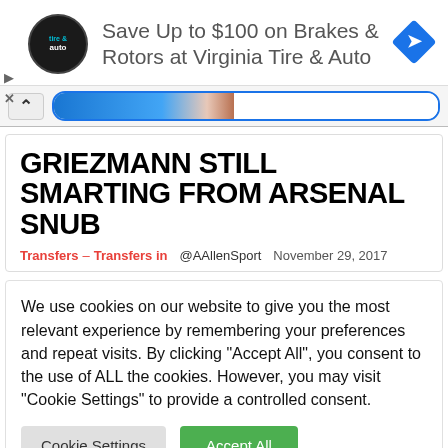[Figure (infographic): Advertisement banner for Virginia Tire & Auto with logo, text 'Save Up to $100 on Brakes & Rotors at Virginia Tire & Auto', and a blue diamond arrow icon. Play and close controls on the left side.]
[Figure (screenshot): Browser navigation bar with up chevron and a URL bar partially filled with a blue gradient progress indicator.]
GRIEZMANN STILL SMARTING FROM ARSENAL SNUB
Transfers – Transfers in   @AAllenSport   November 29, 2017
We use cookies on our website to give you the most relevant experience by remembering your preferences and repeat visits. By clicking "Accept All", you consent to the use of ALL the cookies. However, you may visit "Cookie Settings" to provide a controlled consent.
Cookie Settings   Accept All